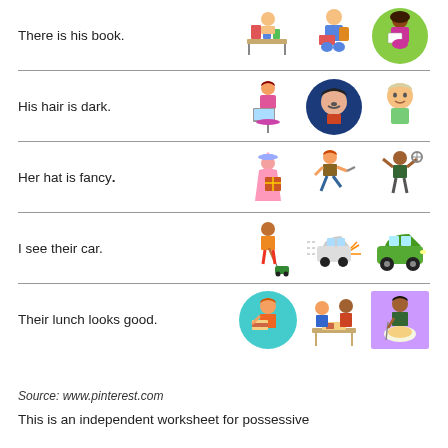There is his book.
His hair is dark.
Her hat is fancy.
I see their car.
Their lunch looks good.
Source: www.pinterest.com
This is an independent worksheet for possessive